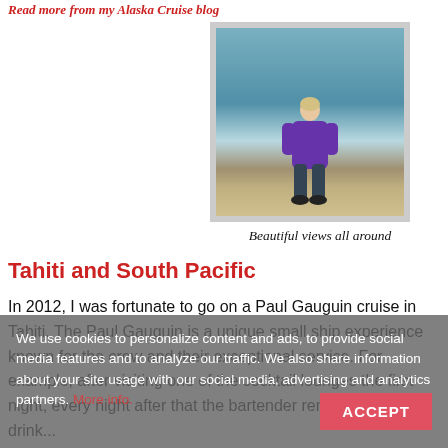Read more from my Alaska Cruise blog
[Figure (photo): A person in a purple jacket standing on a cruise ship deck with water and mountains in the background]
Beautiful views all around
Tahiti and South Pacific
We use cookies to personalize content and ads, to provide social media features and to analyze our traffic. We also share information about your site usage with our social media, advertising and analytics partners. More info.
In 2012, I was fortunate to go on a Paul Gauguin cruise in Tahiti. The Paul Gauguin is a unique small ship experience known for the crew and their exceptional service. For example, after visiting one of the cocktail lounges the first night, every night after that the bartender remembered our drink...